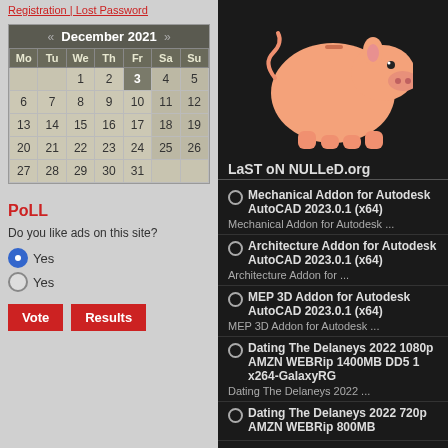Registration | Lost Password
| Mo | Tu | We | Th | Fr | Sa | Su |
| --- | --- | --- | --- | --- | --- | --- |
|  |  | 1 | 2 | 3 | 4 | 5 |
| 6 | 7 | 8 | 9 | 10 | 11 | 12 |
| 13 | 14 | 15 | 16 | 17 | 18 | 19 |
| 20 | 21 | 22 | 23 | 24 | 25 | 26 |
| 27 | 28 | 29 | 30 | 31 |  |  |
PoLL
Do you like ads on this site?
Yes (selected)
Yes
[Figure (illustration): Pink piggy bank on dark background]
LaST oN NULLeD.org
Mechanical Addon for Autodesk AutoCAD 2023.0.1 (x64)
Mechanical Addon for Autodesk ...
Architecture Addon for Autodesk AutoCAD 2023.0.1 (x64)
Architecture Addon for ...
MEP 3D Addon for Autodesk AutoCAD 2023.0.1 (x64)
MEP 3D Addon for Autodesk ...
Dating The Delaneys 2022 1080p AMZN WEBRip 1400MB DD5 1 x264-GalaxyRG
Dating The Delaneys 2022 ...
Dating The Delaneys 2022 720p AMZN WEBRip 800MB